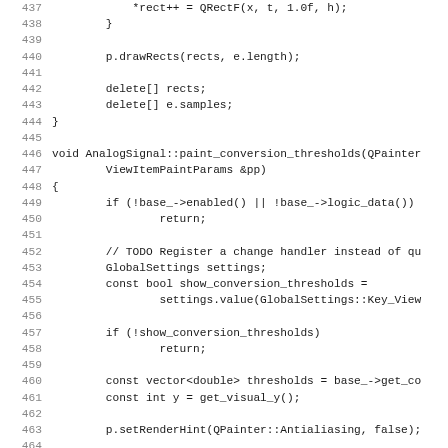Source code listing, lines 437–468, showing C++ implementation of AnalogSignal paint methods